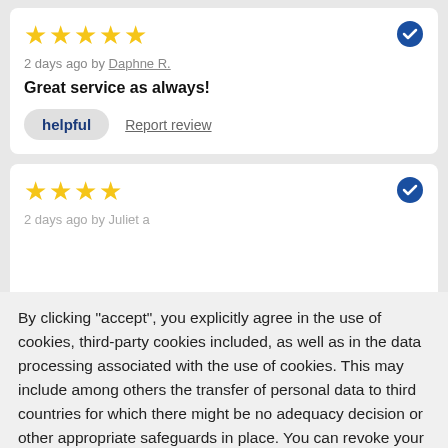[Figure (other): Five gold star rating icons]
2 days ago by Daphne R.
Great service as always!
helpful   Report review
[Figure (other): Four gold star rating icons with blue verified checkmark badge]
2 days ago by Juliet a
By clicking "accept", you explicitly agree in the use of cookies, third-party cookies included, as well as in the data processing associated with the use of cookies. This may include among others the transfer of personal data to third countries for which there might be no adequacy decision or other appropriate safeguards in place. You can revoke your consent at any given time with immediate effect for the future. You can find further information on the data processing purposes, opt-out options, your rights, and the risks of data transfers to third countries here.
ACCEPT